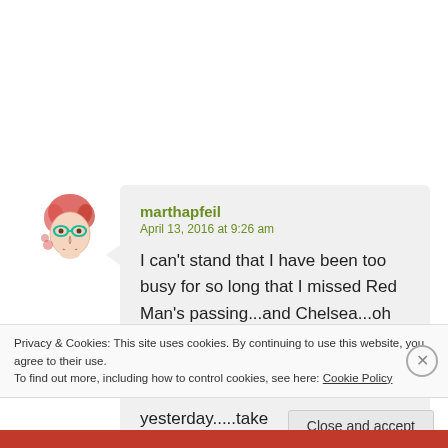[Figure (illustration): Avatar illustration of a woman with red hair and teal glasses, sketchy art style]
marthapfeil
April 13, 2016 at 9:26 am

I can't stand that I have been too busy for so long that I missed Red Man's passing...and Chelsea...oh my gosh, it hurts so much, I know how much you must miss them. I still miss Olive like it was yesterday.....take
Privacy & Cookies: This site uses cookies. By continuing to use this website, you agree to their use.
To find out more, including how to control cookies, see here: Cookie Policy
Close and accept